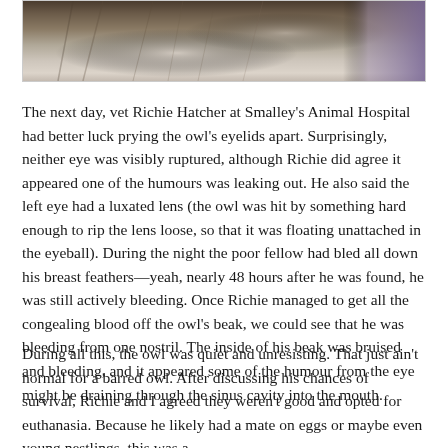[Figure (photo): Close-up photograph of an owl with brown and white feathers, partially showing fur or feathers and a purple background element on the right side.]
The next day, vet Richie Hatcher at Smalley's Animal Hospital had better luck prying the owl's eyelids apart. Surprisingly, neither eye was visibly ruptured, although Richie did agree it appeared one of the humours was leaking out. He also said the left eye had a luxated lens (the owl was hit by something hard enough to rip the lens loose, so that it was floating unattached in the eyeball). During the night the poor fellow had bled all down his breast feathers—yeah, nearly 48 hours after he was found, he was still actively bleeding. Once Richie managed to get all the congealing blood off the owl's beak, we could see that he was bleeding from one nostril. The inside of his beak was bruised and bleeding, and it appeared some of the humour from the eye might be draining through the sinus cavity into the mouth.
During all this, the owl was quiet and unresisting. That just ain't normal for a barred owl. After discussing his chances of survival, Richie and I agreed they weren't good and opted for euthanasia. Because he likely had a mate on eggs or maybe even young nestlings, this was a